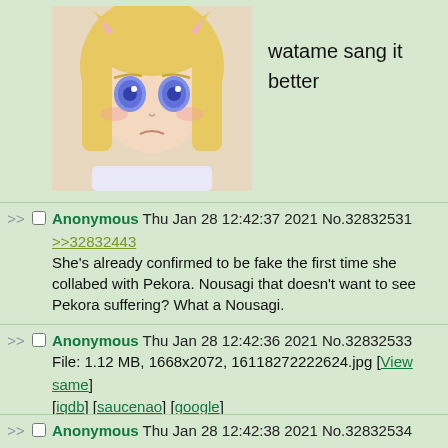[Figure (illustration): Anime girl with blonde hair and blue eyes, sad expression, top portion visible]
watame sang it better
Anonymous Thu Jan 28 12:42:37 2021 No.32832531
>>32832443
She's already confirmed to be fake the first time she collabed with Pekora. Nousagi that doesn't want to see Pekora suffering? What a Nousagi.
Anonymous Thu Jan 28 12:42:36 2021 No.32832533
File: 1.12 MB, 1668x2072, 16118272222624.jpg [View same] [iqdb] [saucenao] [google]
[Figure (illustration): Anime girl with blue hair holding a small doll/figure]
Anonymous Thu Jan 28 12:42:38 2021 No.32832534